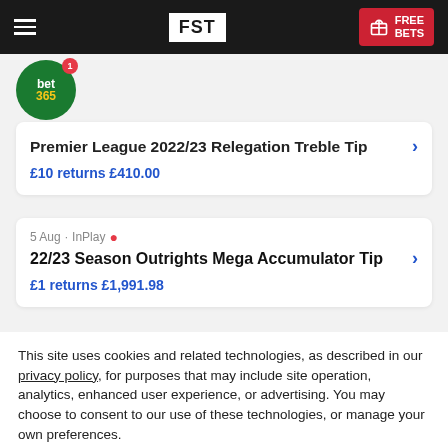FST | FREE BETS
[Figure (logo): bet365 circular green logo with notification badge]
Premier League 2022/23 Relegation Treble Tip
£10 returns £410.00
5 Aug · InPlay
22/23 Season Outrights Mega Accumulator Tip
£1 returns £1,991.98
This site uses cookies and related technologies, as described in our privacy policy, for purposes that may include site operation, analytics, enhanced user experience, or advertising. You may choose to consent to our use of these technologies, or manage your own preferences.
Manage Settings
Accept
Decline All